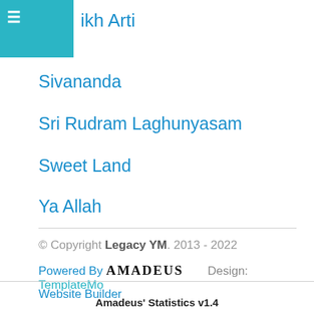≡ikh Arti
Sivananda
Sri Rudram Laghunyasam
Sweet Land
Ya Allah
© Copyright Legacy YM. 2013 - 2022
Powered By AMADEUS   Design: TemplateMo
Website Builder
Amadeus' Statistics v1.4